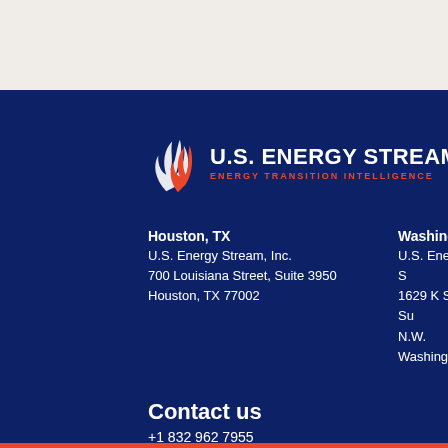[Figure (logo): U.S. Energy Stream logo with flame icon and tagline 'ENERGY TRANSITION INTELLIGENCE']
Houston, TX
U.S. Energy Stream, Inc.
700 Louisiana Street, Suite 3950
Houston, TX 77002
Washington
U.S. Energy S
1629 K St. Su
N.W. Washing
Contact us
+1 832 962 7955